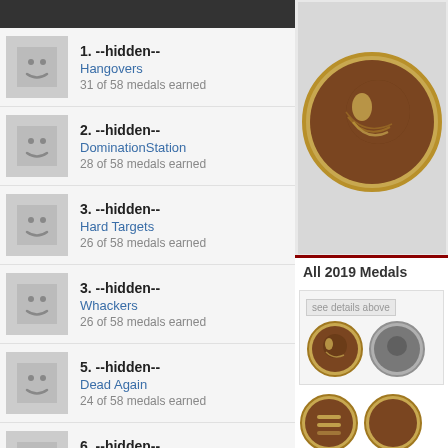1. --hidden-- | Hangovers | 31 of 58 medals earned
2. --hidden-- | DominationStation | 28 of 58 medals earned
3. --hidden-- | Hard Targets | 26 of 58 medals earned
3. --hidden-- | Whackers | 26 of 58 medals earned
5. --hidden-- | Dead Again | 24 of 58 medals earned
6. --hidden-- | Arrogant Americans | 23 of 58 medals earned
6. --hidden--
[Figure (illustration): Large bronze/gold medal with a bowling ball and pins icon]
All 2019 Medals
[Figure (illustration): Small bronze medal with bowling icon and partial silver medal visible]
[Figure (illustration): Two gold/bronze medals partially visible at bottom]